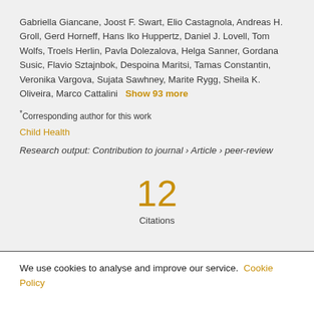Gabriella Giancane, Joost F. Swart, Elio Castagnola, Andreas H. Groll, Gerd Horneff, Hans Iko Huppertz, Daniel J. Lovell, Tom Wolfs, Troels Herlin, Pavla Dolezalova, Helga Sanner, Gordana Susic, Flavio Sztajnbok, Despoina Maritsi, Tamas Constantin, Veronika Vargova, Sujata Sawhney, Marite Rygg, Sheila K. Oliveira, Marco Cattalini   Show 93 more
*Corresponding author for this work
Child Health
Research output: Contribution to journal › Article › peer-review
12 Citations
We use cookies to analyse and improve our service. Cookie Policy